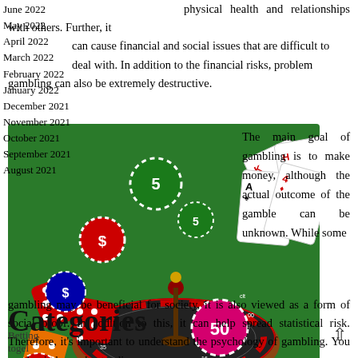June 2022
May 2022
April 2022
March 2022
February 2022
January 2022
December 2021
November 2021
October 2021
September 2021
August 2021
physical health and relationships with others. Further, it can cause financial and social issues that are difficult to deal with. In addition to the financial risks, problem gambling can also be extremely destructive.
[Figure (photo): Casino gambling items: playing cards, poker chips (denominations 5, 10, 50), red dice, and a roulette wheel with a roulette spinner figure, all on a green background.]
The main goal of gambling is to make money, although the actual outcome of the gamble can be unknown. While some gambling may be beneficial for society, it is also viewed as a form of social proof. In addition to this, it can help spread statistical risk. Therefore, it's important to understand the psychology of gambling. You can begin by understanding
Categories
Betting
togel